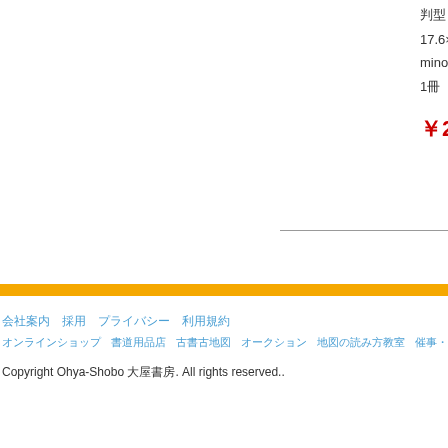判型
17.6×23.8
minor hole
1冊　1 sheet
￥26,180
会社案内　採用　プライバシー　利用規約
オンラインショップ　書道用品店　古書古地図　オークション　地図の読み方教室　催事・展示会　English
Copyright Ohya-Shobo 大屋書房. All rights reserved..